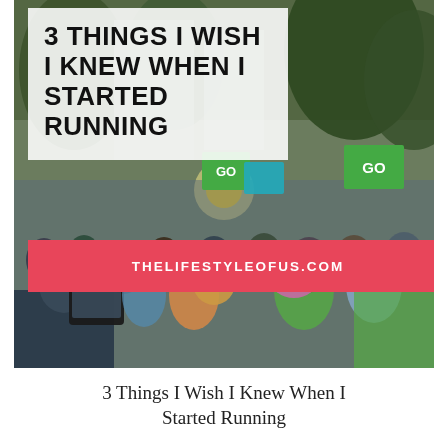[Figure (photo): A large crowd of runners at a race start line with green GO signs visible, trees and buildings in the background, someone holding up a phone/tablet to take a photo. Semi-transparent white overlay box in the upper left contains the main title text.]
3 THINGS I WISH I KNEW WHEN I STARTED RUNNING
THELIFESTYLEOFUS.COM
3 Things I Wish I Knew When I Started Running